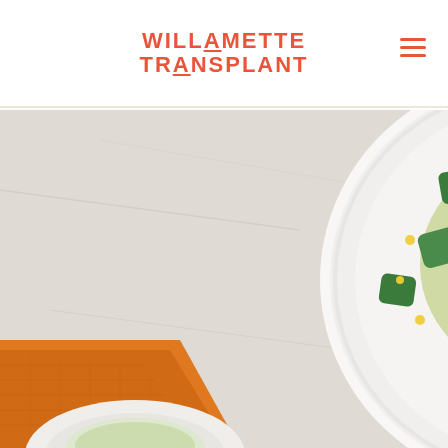WILLAMETTE TRANSPLANT
[Figure (photo): Overhead shot of a white round plate containing a vegetable and tofu dish with corn, zucchini, tomatoes and herbs in a green sauce, served on a light marble surface with an orange cloth napkin partially visible in the lower left, and a second white plate with rice at the bottom edge of the image.]